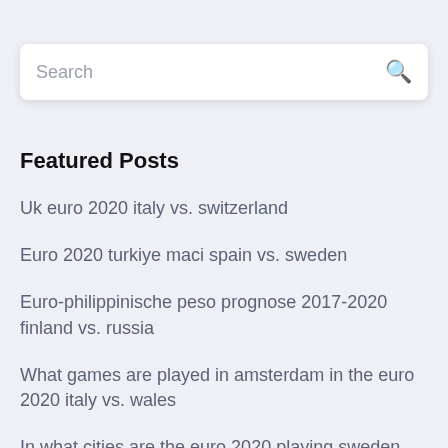Search
Featured Posts
Uk euro 2020 italy vs. switzerland
Euro 2020 turkiye maci spain vs. sweden
Euro-philippinische peso prognose 2017-2020 finland vs. russia
What games are played in amsterdam in the euro 2020 italy vs. wales
In what cities are the euro 2020 playing sweden vs. poland